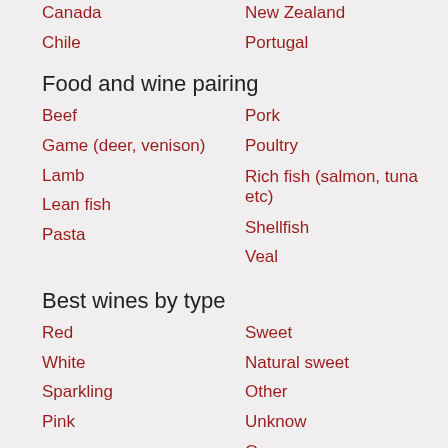Canada
New Zealand
Chile
Portugal
Food and wine pairing
Beef
Pork
Game (deer, venison)
Poultry
Lamb
Rich fish (salmon, tuna etc)
Lean fish
Shellfish
Pasta
Veal
Best wines by type
Red
Sweet
White
Natural sweet
Sparkling
Other
Pink
Unknow
Orange